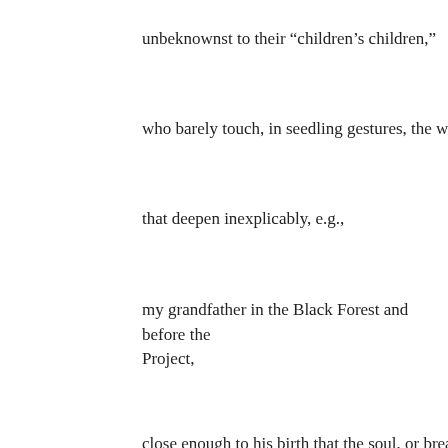unbeknownst to their "children's children,"
who barely touch, in seedling gestures, the woods
that deepen inexplicably, e.g.,
my grandfather in the Black Forest and before the Project,
close enough to his birth that the soul, or breath,
meets up with the good witch, who fixed his eye.
Except it wasn't the Black Forest, but White Russi
and the neighbors may have been wending home and potato dolls . . .
who will fly to their futures as if there were never a
only how they do it remains a mystery. And here